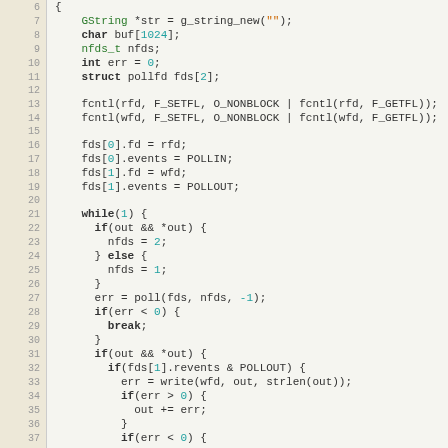[Figure (screenshot): Source code listing in C with line numbers 6-38, showing GLib/poll-based I/O loop code. Syntax highlighted with keywords in bold, type names in green, numbers in teal.]